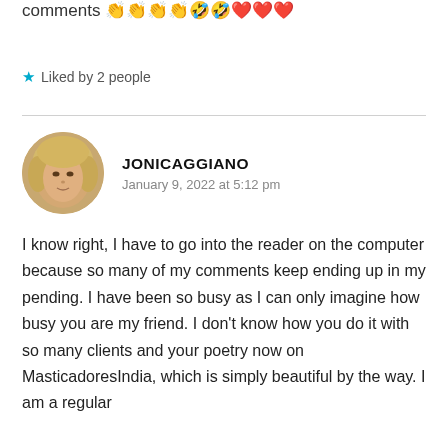comments 👏👏👏👏🤣🤣❤️❤️❤️
★ Liked by 2 people
[Figure (photo): Circular avatar photo of a woman with blonde hair]
JONICAGGIANO
January 9, 2022 at 5:12 pm
I know right, I have to go into the reader on the computer because so many of my comments keep ending up in my pending. I have been so busy as I can only imagine how busy you are my friend. I don't know how you do it with so many clients and your poetry now on MasticadoresIndia, which is simply beautiful by the way. I am a regular